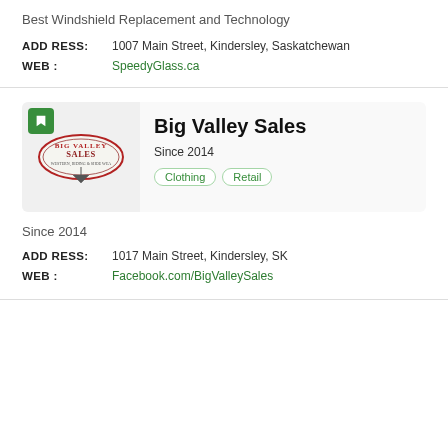Best Windshield Replacement and Technology
ADDRESS: 1007 Main Street, Kindersley, Saskatchewan
WEB: SpeedyGlass.ca
[Figure (logo): Big Valley Sales logo in oval shape with red and dark text]
Big Valley Sales
Since 2014
Clothing  Retail
Since 2014
ADDRESS: 1017 Main Street, Kindersley, SK
WEB: Facebook.com/BigValleySales